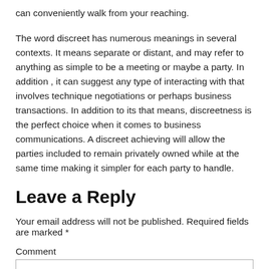can conveniently walk from your reaching.
The word discreet has numerous meanings in several contexts. It means separate or distant, and may refer to anything as simple to be a meeting or maybe a party. In addition , it can suggest any type of interacting with that involves technique negotiations or perhaps business transactions. In addition to its that means, discreetness is the perfect choice when it comes to business communications. A discreet achieving will allow the parties included to remain privately owned while at the same time making it simpler for each party to handle.
Leave a Reply
Your email address will not be published. Required fields are marked *
Comment